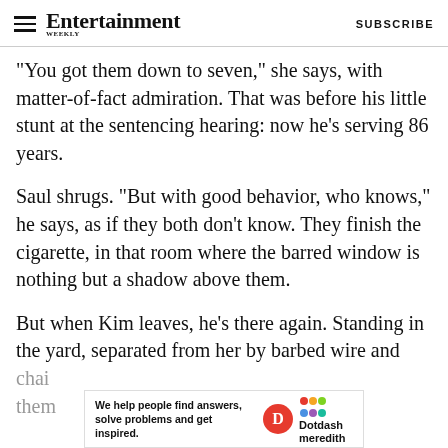Entertainment Weekly — SUBSCRIBE
"You got them down to seven," she says, with matter-of-fact admiration. That was before his little stunt at the sentencing hearing: now he's serving 86 years.
Saul shrugs. "But with good behavior, who knows," he says, as if they both don't know. They finish the cigarette, in that room where the barred window is nothing but a shadow above them.
But when Kim leaves, he's there again. Standing in the yard, separated from her by barbed wire and chain… them…
[Figure (other): Advertisement banner: 'We help people find answers, solve problems and get inspired.' with Dotdash Meredith logo]